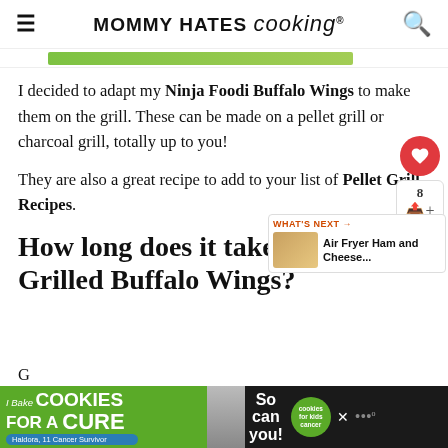MOMMY HATES cooking
[Figure (other): Partial green advertisement banner strip]
I decided to adapt my Ninja Foodi Buffalo Wings to make them on the grill. These can be made on a pellet grill or charcoal grill, totally up to you!
They are also a great recipe to add to your list of Pellet Grill Recipes.
How long does it take to Grilled Buffalo Wings?
[Figure (other): Bottom advertisement banner: I Bake COOKIES For A CURE - So can you! - with green badge and person photo]
o grill